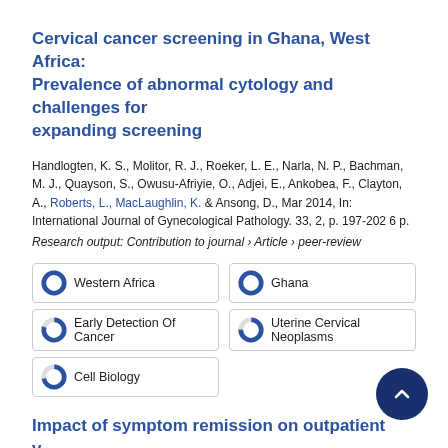Cervical cancer screening in Ghana, West Africa: Prevalence of abnormal cytology and challenges for expanding screening
Handlogten, K. S., Molitor, R. J., Roeker, L. E., Narla, N. P., Bachman, M. J., Quayson, S., Owusu-Afriyie, O., Adjei, E., Ankobea, F., Clayton, A., Roberts, L., MacLaughlin, K. & Ansong, D., Mar 2014, In: International Journal of Gynecological Pathology. 33, 2, p. 197-202 6 p.
Research output: Contribution to journal › Article › peer-review
Western Africa
Ghana
Early Detection Of Cancer
Uterine Cervical Neoplasms
Cell Biology
Impact of symptom remission on outpatient visits in depressed primary care patients treated with collaborative care management and usual care